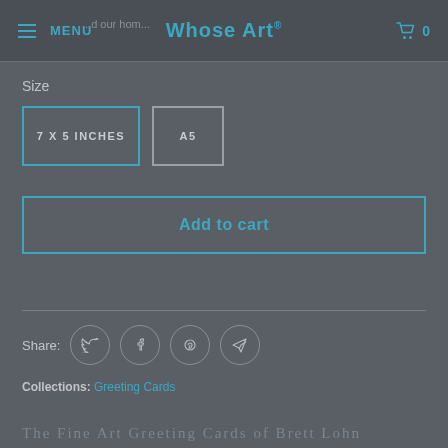MENU | Whose Art® | 0
Size
7 X 5 INCHES | A5
Add to cart
Share:
Collections: Greeting Cards
The Fine Art Greeting Cards of Brett Lohn